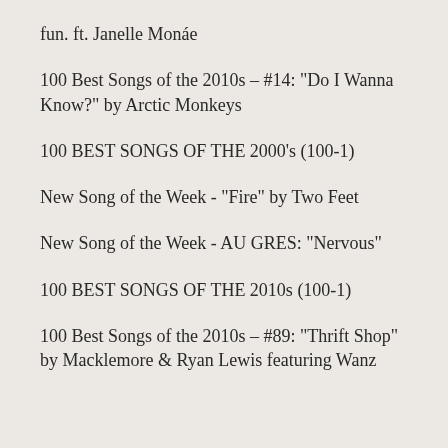fun. ft. Janelle Monáe
100 Best Songs of the 2010s – #14: "Do I Wanna Know?" by Arctic Monkeys
100 BEST SONGS OF THE 2000's (100-1)
New Song of the Week - "Fire" by Two Feet
New Song of the Week - AU GRES: "Nervous"
100 BEST SONGS OF THE 2010s (100-1)
100 Best Songs of the 2010s – #89: "Thrift Shop" by Macklemore & Ryan Lewis featuring Wanz